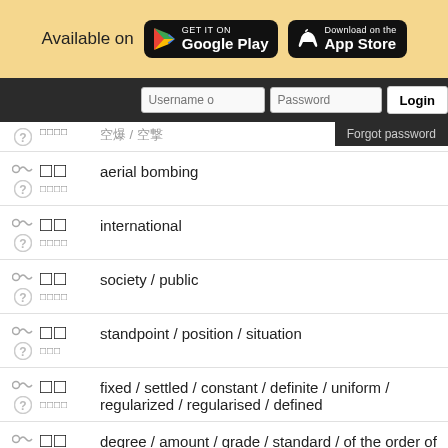[Figure (screenshot): App store badges for Google Play and App Store with 'Available on' text]
[Figure (screenshot): Login bar with username/password fields, login button, and forgot password dropdown]
aerial bombing — [kanji] [reading]
international — [kanji] [reading]
society / public — [kanji] [reading]
standpoint / position / situation — [kanji] [reading]
fixed / settled / constant / definite / uniform / regularized / regularised / defined — [kanji] [reading]
degree / amount / grade / standard / of the order of (following a number) — [kanji] [reading]